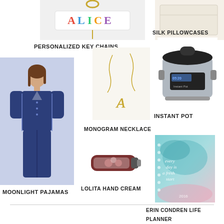[Figure (photo): Personalized key chain with name plate]
PERSONALIZED KEY CHAINS
[Figure (photo): Silk pillowcase in cream/white]
SILK PILLOWCASES
[Figure (photo): Navy blue moonlight pajamas set]
MOONLIGHT PAJAMAS
[Figure (photo): Monogram gold necklace on white background]
MONOGRAM NECKLACE
[Figure (photo): Instant Pot pressure cooker]
INSTANT POT
[Figure (photo): Lolita hand cream tube with floral design]
LOLITA HAND CREAM
[Figure (photo): Erin Condren Life Planner with watercolor cover]
ERIN CONDREN LIFE PLANNER